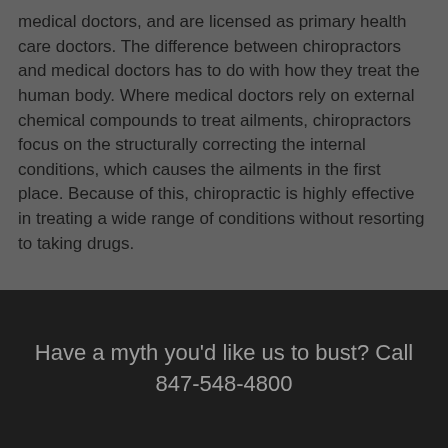medical doctors, and are licensed as primary health care doctors. The difference between chiropractors and medical doctors has to do with how they treat the human body. Where medical doctors rely on external chemical compounds to treat ailments, chiropractors focus on the structurally correcting the internal conditions, which causes the ailments in the first place. Because of this, chiropractic is highly effective in treating a wide range of conditions without resorting to taking drugs.
Have a myth you'd like us to bust? Call 847-548-4800